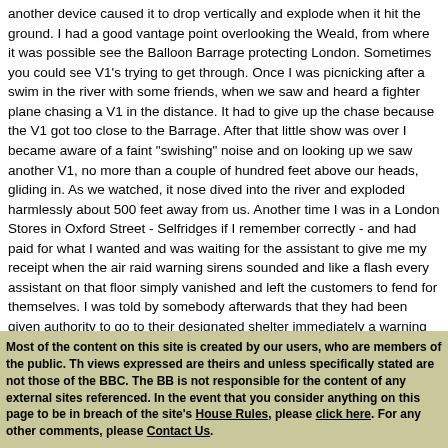another device caused it to drop vertically and explode when it hit the ground. I had a good vantage point overlooking the Weald, from where it was possible see the Balloon Barrage protecting London. Sometimes you could see V1's trying to get through. Once I was picnicking after a swim in the river with some friends, when we saw and heard a fighter plane chasing a V1 in the distance. It had to give up the chase because the V1 got too close to the Barrage. After that little show was over I became aware of a faint "swishing" noise and on looking up we saw another V1, no more than a couple of hundred feet above our heads, gliding in. As we watched, it nose dived into the river and exploded harmlessly about 500 feet away from us. Another time I was in a London Stores in Oxford Street - Selfridges if I remember correctly - and had paid for what I wanted and was waiting for the assistant to give me my receipt when the air raid warning sirens sounded and like a flash every assistant on that floor simply vanished and left the customers to fend for themselves. I was told by somebody afterwards that they had been given authority to go to their designated shelter immediately a warning was sounded and was a graphic illustration of the fear the V1's had generated in London workers in a very short tim
© Copyright of content contributed to this Archive rests with the author. Find out how you can use this.
Back to top
Most of the content on this site is created by our users, who are members of the public. The views expressed are theirs and unless specifically stated are not those of the BBC. The BBC is not responsible for the content of any external sites referenced. In the event that you consider anything on this page to be in breach of the site's House Rules, please click here. For any other comments, please Contact Us.